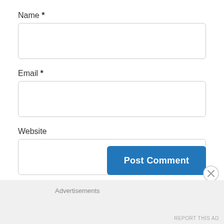Name *
[Figure (other): Empty text input field for Name]
Email *
[Figure (other): Empty text input field for Email]
Website
[Figure (other): Empty text input field for Website]
Post Comment
Advertisements
REPORT THIS AD